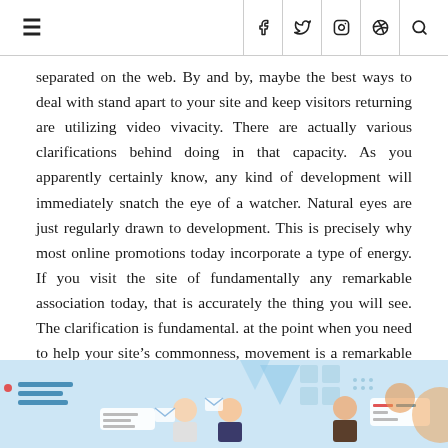≡  f  twitter  instagram  pinterest  search
separated on the web. By and by, maybe the best ways to deal with stand apart to your site and keep visitors returning are utilizing video vivacity. There are actually various clarifications behind doing in that capacity. As you apparently certainly know, any kind of development will immediately snatch the eye of a watcher. Natural eyes are just regularly drawn to development. This is precisely why most online promotions today incorporate a type of energy. If you visit the site of fundamentally any remarkable association today, that is accurately the thing you will see. The clarification is fundamental. at the point when you need to help your site's commonness, movement is a remarkable technique to do thusly.
[Figure (illustration): Illustration showing people working with digital interface elements, speech bubbles, and UI components on a light blue background.]